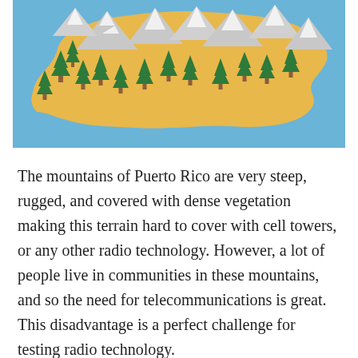[Figure (illustration): Illustrated map of Puerto Rico showing a golden/yellow island shape on a light blue background, decorated with stylized green pine trees and white mountain peaks scattered across the island.]
The mountains of Puerto Rico are very steep, rugged, and covered with dense vegetation making this terrain hard to cover with cell towers, or any other radio technology. However, a lot of people live in communities in these mountains, and so the need for telecommunications is great. This disadvantage is a perfect challenge for testing radio technology.